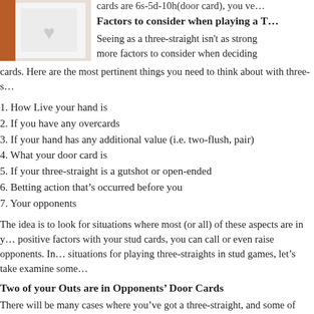cards are 6s-5d-10h(door card), you ve…
Factors to consider when playing a T…
Seeing as a three-straight isn't as strong… more factors to consider when deciding… cards. Here are the most pertinent things you need to think about with three-s…
1. How Live your hand is
2. If you have any overcards
3. If your hand has any additional value (i.e. two-flush, pair)
4. What your door card is
5. If your three-straight is a gutshot or open-ended
6. Betting action that’s occurred before you
7. Your opponents
The idea is to look for situations where most (or all) of these aspects are in y… positive factors with your stud cards, you can call or even raise opponents. In… situations for playing three-straights in stud games, let’s take examine some…
Two of your Outs are in Opponents’ Door Cards
There will be many cases where you’ve got a three-straight, and some of you… For example, let’s say that you’ve got 7s-8s-9d(upcard), while there’s a ten a… however, no fives or jacks are out. Seeing as how two of the cards that could… your hand is a little less “live.”